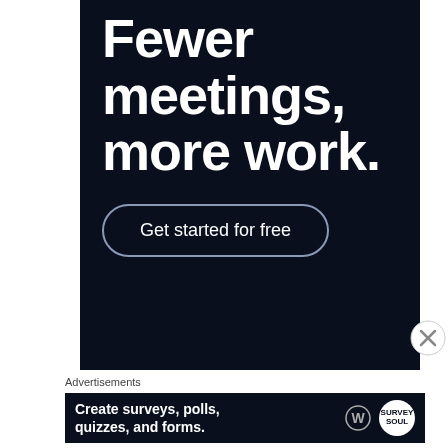[Figure (illustration): Dark navy advertisement banner with large white bold text reading 'Fewer meetings, more work.' and a 'Get started for free' call-to-action button with a rounded border outline.]
Advertisements
[Figure (illustration): Dark navy advertisement banner with white bold text reading 'Create surveys, polls, quizzes, and forms.' with WordPress and SurveyMonkey logos on the right.]